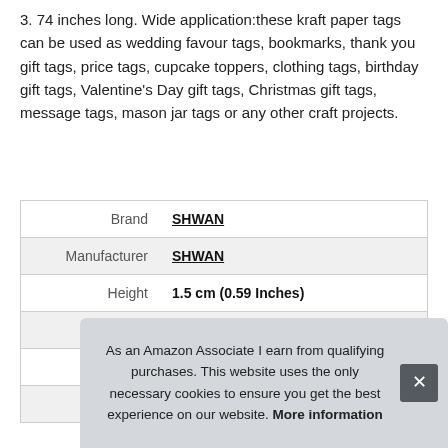3. 74 inches long. Wide application:these kraft paper tags can be used as wedding favour tags, bookmarks, thank you gift tags, price tags, cupcake toppers, clothing tags, birthday gift tags, Valentine's Day gift tags, Christmas gift tags, message tags, mason jar tags or any other craft projects.
|  |  |
| --- | --- |
| Brand | SHWAN |
| Manufacturer | SHWAN |
| Height | 1.5 cm (0.59 Inches) |
| Length | 9 cm (3.54 Inches) |
| Width | 4 cm (1.57 Inches) |
| P |  |
As an Amazon Associate I earn from qualifying purchases. This website uses the only necessary cookies to ensure you get the best experience on our website. More information